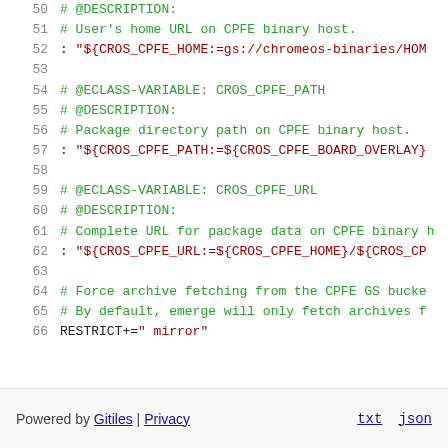[Figure (screenshot): Source code viewer showing lines 50-66 of a shell/bash eclass file with comments and variable assignments for CROS_CPFE_HOME, CROS_CPFE_PATH, CROS_CPFE_URL, and RESTRICT variables]
Powered by Gitiles | Privacy    txt  json